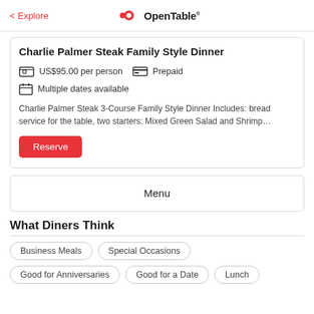< Explore | OpenTable
Charlie Palmer Steak Family Style Dinner
US$95.00 per person  Prepaid
Multiple dates available
Charlie Palmer Steak 3-Course Family Style Dinner Includes: bread service for the table, two starters: Mixed Green Salad and Shrimp…
Reserve
Menu
What Diners Think
Business Meals
Special Occasions
Good for Anniversaries
Good for a Date
Lunch